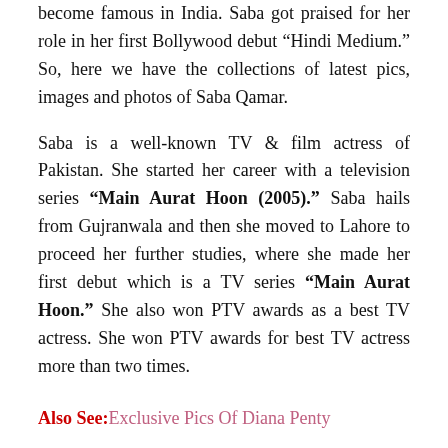become famous in India. Saba got praised for her role in her first Bollywood debut “Hindi Medium.” So, here we have the collections of latest pics, images and photos of Saba Qamar.
Saba is a well-known TV & film actress of Pakistan. She started her career with a television series “Main Aurat Hoon (2005).” Saba hails from Gujranwala and then she moved to Lahore to proceed her further studies, where she made her first debut which is a TV series “Main Aurat Hoon.” She also won PTV awards as a best TV actress. She won PTV awards for best TV actress more than two times.
Also See: Exclusive Pics Of Diana Penty